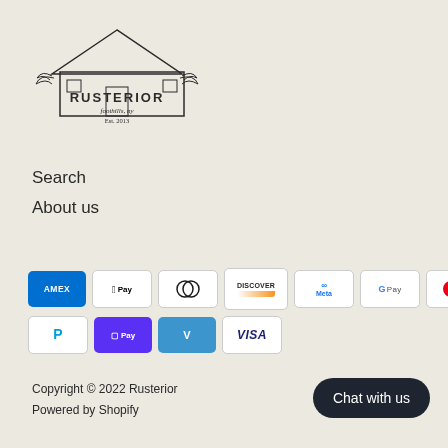[Figure (logo): Rusterior barn logo with text RUSTERIOR, foothills, ny, Est. 2013]
Search
About us
[Figure (infographic): Payment method icons: American Express, Apple Pay, Diners Club, Discover, Meta Pay, Google Pay, Mastercard, PayPal, Shop Pay, Venmo, Visa]
Copyright © 2022 Rusterior
Powered by Shopify